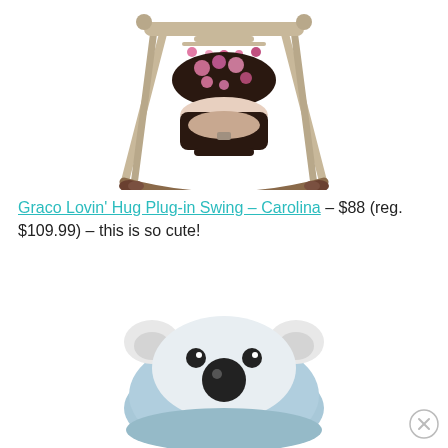[Figure (photo): Graco Lovin' Hug Plug-in Swing in Carolina colorway — pink floral patterned hood and seat with tan/beige metal frame and dark brown legs/base]
Graco Lovin' Hug Plug-in Swing – Carolina – $88 (reg. $109.99) – this is so cute!
[Figure (photo): Blue bear-shaped baby product (likely a humidifier or monitor) with white ear accents and cartoon face with eyes and nose]